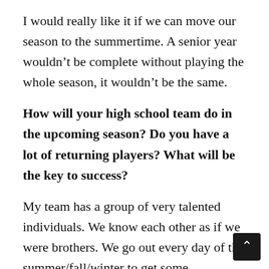I would really like it if we can move our season to the summertime. A senior year wouldn’t be complete without playing the whole season, it wouldn’t be the same.
How will your high school team do in the upcoming season? Do you have a lot of returning players? What will be the key to success?
My team has a group of very talented individuals. We know each other as if we were brothers. We go out every day of the summer/fall/winter to get some